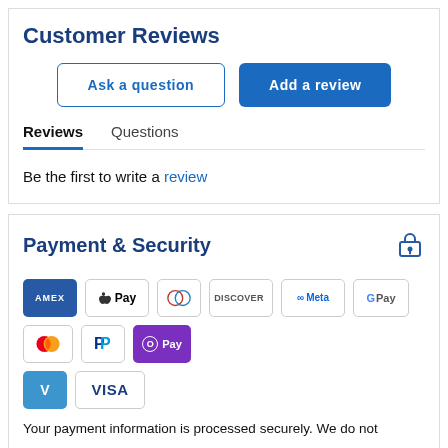Customer Reviews
Ask a question | Add a review
Reviews   Questions
Be the first to write a review
Payment & Security
[Figure (infographic): Payment method icons: AMEX, Apple Pay, Diners Club, Discover, Meta Pay, Google Pay, Mastercard, PayPal, OPay, Venmo, Visa]
Your payment information is processed securely. We do not